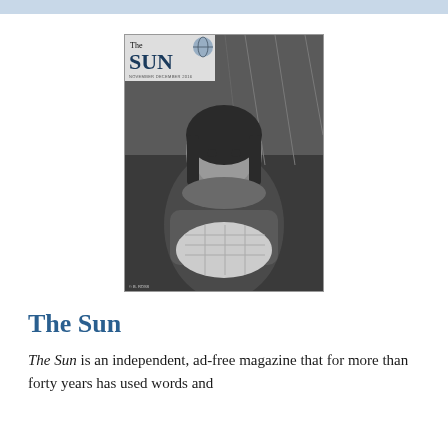[Figure (photo): Black and white photograph of a young girl holding a bundled cloth, with a chain-link fence in the background. The image is shown as the cover of The Sun magazine, with the magazine logo visible in the upper left corner.]
The Sun
The Sun is an independent, ad-free magazine that for more than forty years has used words and